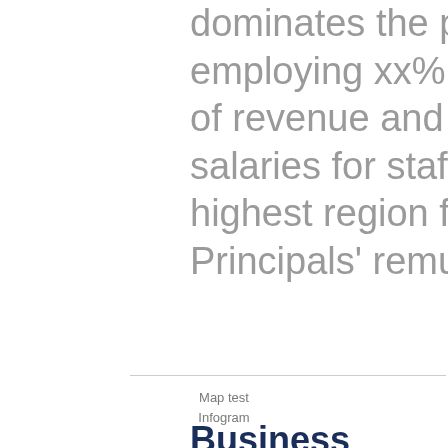dominates the professions benchmarks, employing xx% of staff, generating xx% of revenue and  paying the highest salaries for staff. But London is not the highest region for practice profits nor for Principals' remuneration.
Map test
Infogram
Business practices improve